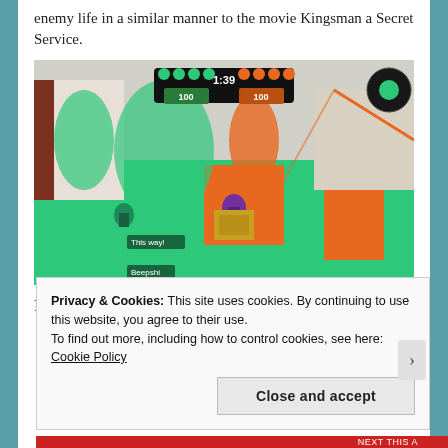enemy life in a similar manner to the movie Kingsman a Secret Service.
[Figure (screenshot): Screenshot of the video game Splatoon 2 showing a Ranked Battle scene. The game arena is covered in green and orange ink. Multiple squid characters are visible. A HUD shows 1:39 timer and score 100 vs 100. Text overlays read 'This way!' and 'Beepshi']
Ranked Battle is back and its more intense than
Privacy & Cookies: This site uses cookies. By continuing to use this website, you agree to their use.
To find out more, including how to control cookies, see here: Cookie Policy
Close and accept